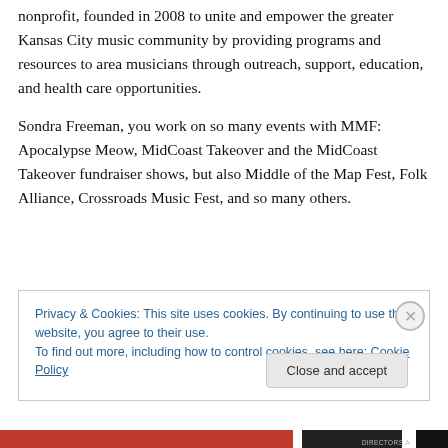nonprofit, founded in 2008 to unite and empower the greater Kansas City music community by providing programs and resources to area musicians through outreach, support, education, and health care opportunities.
Sondra Freeman, you work on so many events with MMF: Apocalypse Meow, MidCoast Takeover and the MidCoast Takeover fundraiser shows, but also Middle of the Map Fest, Folk Alliance, Crossroads Music Fest, and so many others.
Privacy & Cookies: This site uses cookies. By continuing to use this website, you agree to their use. To find out more, including how to control cookies, see here: Cookie Policy
Close and accept